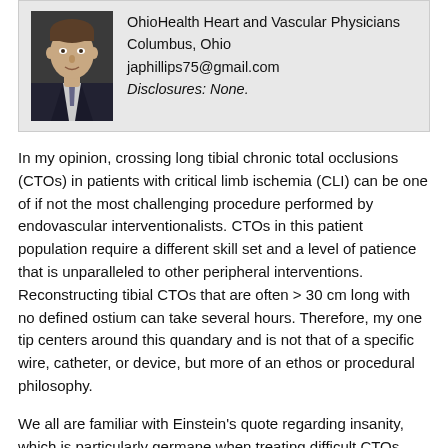[Figure (photo): Headshot of a man in a suit and tie against a dark background]
OhioHealth Heart and Vascular Physicians
Columbus, Ohio
japhillips75@gmail.com
Disclosures: None.
In my opinion, crossing long tibial chronic total occlusions (CTOs) in patients with critical limb ischemia (CLI) can be one of if not the most challenging procedure performed by endovascular interventionalists. CTOs in this patient population require a different skill set and a level of patience that is unparalleled to other peripheral interventions. Reconstructing tibial CTOs that are often > 30 cm long with no defined ostium can take several hours. Therefore, my one tip centers around this quandary and is not that of a specific wire, catheter, or device, but more of an ethos or procedural philosophy.
We all are familiar with Einstein's quote regarding insanity, which is particularly germane when treating difficult CTOs. The longer the case goes without any progress, the quicker the fog of doubt seeps into your mind, and the sooner you abort the procedure, ultimately resulting in failure. My one tip is simple: If what you are doing isn't working, try something else–another wire, catheter, or access point. Set a timer in your head, give yourself 2 minutes with your current plan of attack, and if that is getting